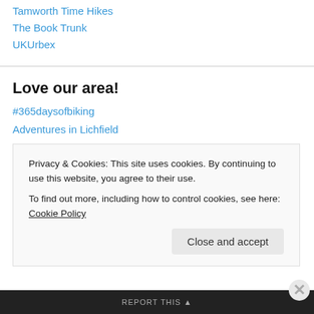Tamworth Time Hikes
The Book Trunk
UKUrbex
Love our area!
#365daysofbiking
Adventures in Lichfield
Beacon St Blog
Beacon Street Residents' Association
Ell Brown flickrstream – Lichfield Group
Five Spires Live
Leomansley Area Residents Association
Privacy & Cookies: This site uses cookies. By continuing to use this website, you agree to their use.
To find out more, including how to control cookies, see here: Cookie Policy
Close and accept